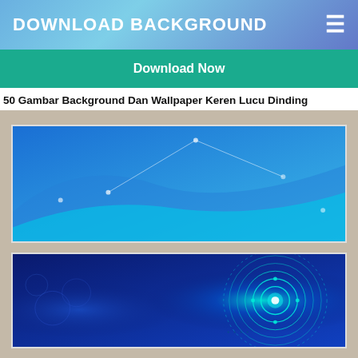DOWNLOAD BACKGROUND
Download Now
50 Gambar Background Dan Wallpaper Keren Lucu Dinding
[Figure (illustration): Abstract blue wave background with light blue wave shapes and dot accents on a blue gradient background]
[Figure (illustration): Dark blue tech background with glowing circular technology/HUD design on the right side and bokeh light effects on the left]